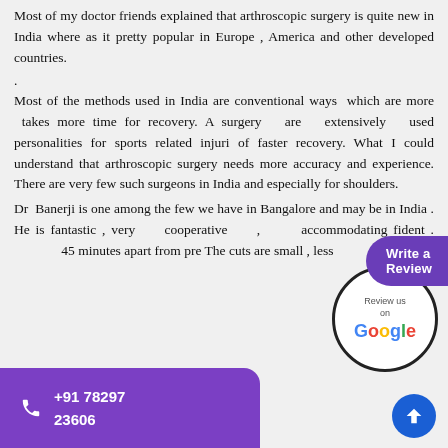Most of my doctor friends explained that arthroscopic surgery is quite new in India where as it pretty popular in Europe , America and other developed countries.
.
Most of the methods used in India are conventional ways which are more takes more time for recovery. A surgery are extensively used personalities for sports related injuri of faster recovery. What I could understand that arthroscopic surgery needs more accuracy and experience. There are very few such surgeons in India and especially for shoulders.
Dr Banerji is one among the few we have in Bangalore and may be in India . He is fantastic , very cooperative , accommodating fident . 45 minutes apart from pre The cuts are small , less
[Figure (other): Write a Review button and Google Review circular badge]
+91 78297 23606